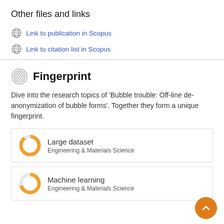Other files and links
Link to publication in Scopus
Link to citation list in Scopus
Fingerprint
Dive into the research topics of 'Bubble trouble: Off-line de-anonymization of bubble forms'. Together they form a unique fingerprint.
Large dataset
Engineering & Materials Science
Machine learning
Engineering & Materials Science